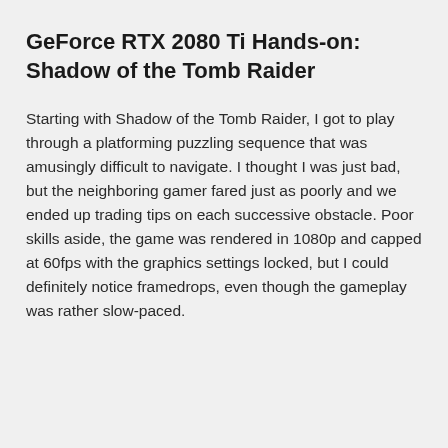GeForce RTX 2080 Ti Hands-on: Shadow of the Tomb Raider
Starting with Shadow of the Tomb Raider, I got to play through a platforming puzzling sequence that was amusingly difficult to navigate. I thought I was just bad, but the neighboring gamer fared just as poorly and we ended up trading tips on each successive obstacle. Poor skills aside, the game was rendered in 1080p and capped at 60fps with the graphics settings locked, but I could definitely notice framedrops, even though the gameplay was rather slow-paced.